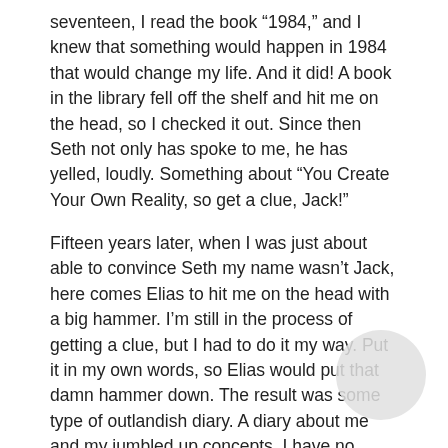seventeen, I read the book “1984,” and I knew that something would happen in 1984 that would change my life. And it did! A book in the library fell off the shelf and hit me on the head, so I checked it out. Since then Seth not only has spoke to me, he has yelled, loudly. Something about “You Create Your Own Reality, so get a clue, Jack!”
Fifteen years later, when I was just about able to convince Seth my name wasn’t Jack, here comes Elias to hit me on the head with a big hammer. I’m still in the process of getting a clue, but I had to do it my way. Put it in my own words, so Elias would put that damn hammer down. The result was some type of outlandish diary. A diary about me and my jumbled up concepts. I have no other excuse. If I did, I would definitely use it.
I created a reality entitled, “Diary of a Goddess.” It started out just a little at a time, just some random thoughts that I spontaneously committed to electronic paper. But then